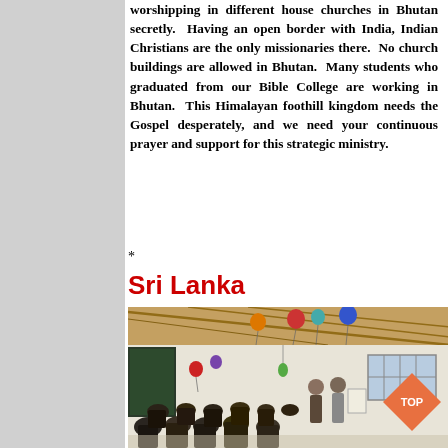worshipping in different house churches in Bhutan secretly. Having an open border with India, Indian Christians are the only missionaries there. No church buildings are allowed in Bhutan. Many students who graduated from our Bible College are working in Bhutan. This Himalayan foothill kingdom needs the Gospel desperately, and we need your continuous prayer and support for this strategic ministry.
*
Sri Lanka
[Figure (photo): Interior of a church meeting room with a corrugated metal roof decorated with colorful balloons. People are seated facing the front where a person appears to be speaking or presenting. A blackboard is visible on the left wall and windows on the right.]